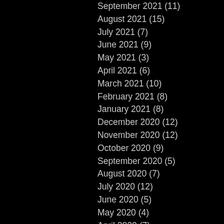September 2021 (11)
August 2021 (15)
July 2021 (7)
June 2021 (9)
May 2021 (3)
April 2021 (6)
March 2021 (10)
February 2021 (8)
January 2021 (8)
December 2020 (12)
November 2020 (12)
October 2020 (9)
September 2020 (5)
August 2020 (7)
July 2020 (12)
June 2020 (5)
May 2020 (4)
April 2020 (7)
March 2020 (8)
February 2020 (4)
January 2020 (12)
December 2019 (11)
November 2019 (9)
October 2019 (7)